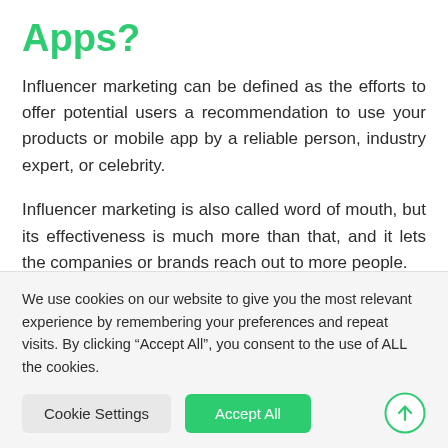Apps?
Influencer marketing can be defined as the efforts to offer potential users a recommendation to use your products or mobile app by a reliable person, industry expert, or celebrity.
Influencer marketing is also called word of mouth, but its effectiveness is much more than that, and it lets the companies or brands reach out to more people.
An influencer can be any trustworthy person who is
We use cookies on our website to give you the most relevant experience by remembering your preferences and repeat visits. By clicking “Accept All”, you consent to the use of ALL the cookies.